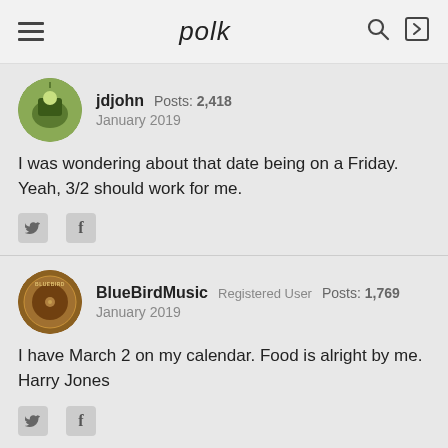polk
jdjohn  Posts: 2,418  January 2019
I was wondering about that date being on a Friday. Yeah, 3/2 should work for me.
BlueBirdMusic  Registered User  Posts: 1,769  January 2019
I have March 2 on my calendar. Food is alright by me. Harry Jones